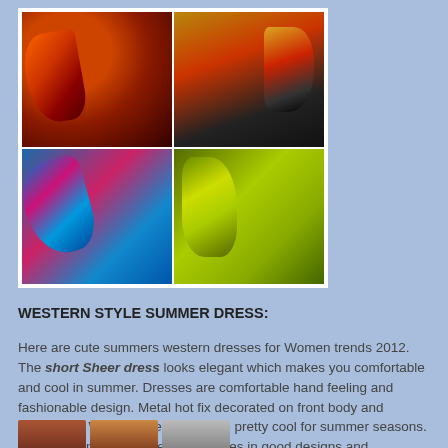[Figure (photo): Four colorful fabric shawl/wrap samples arranged in a 2x2 grid on white background. Top-left: orange and dark red wrap. Top-right: gold, red, and black wrap. Bottom-left: blue, pink, and red wrap. Bottom-right: yellow-green and lime wrap.]
WESTERN STYLE SUMMER DRESS:
Here are cute summers western dresses for Women trends 2012. The short Sheer dress looks elegant which makes you comfortable and cool in summer. Dresses are comfortable hand feeling and fashionable design. Metal hot fix decorated on front body and sleeveless. Western dresses will be pretty cool for summer seasons. Western summer dresses also comes in good designs and collections.
[Figure (photo): Partial view of thumbnail photos at the bottom of the page showing fashion items.]